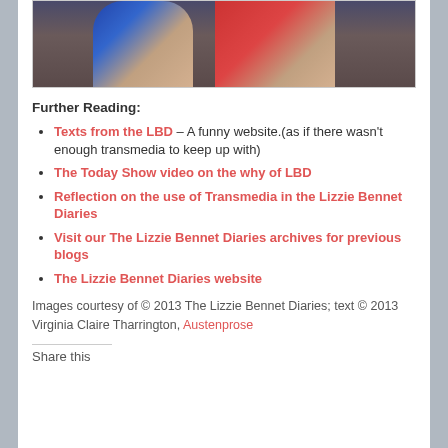[Figure (photo): Two women photographed together; one wearing blue on the left, one wearing red on the right]
Further Reading:
Texts from the LBD – A funny website.(as if there wasn't enough transmedia to keep up with)
The Today Show video on the why of LBD
Reflection on the use of Transmedia in the Lizzie Bennet Diaries
Visit our The Lizzie Bennet Diaries archives for previous blogs
The Lizzie Bennet Diaries website
Images courtesy of © 2013 The Lizzie Bennet Diaries; text © 2013 Virginia Claire Tharrington, Austenprose
Share this